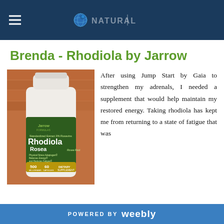Website navigation header with hamburger menu and globe logo
Brenda - Rhodiola by Jarrow
[Figure (photo): Jarrow Formulas Rhodiola Rosea supplement bottle, 500mg, 60 capsules, Standardized Extract 3% Rosavins, Physical Stress Adaptogen, Balances Energy and Reduces Fatigue, Dietary Supplement]
After using Jump Start by Gaia to strengthen my adrenals, I needed a supplement that would help maintain my restored energy. Taking rhodiola has kept me from returning to a state of fatigue that was
POWERED BY weebly